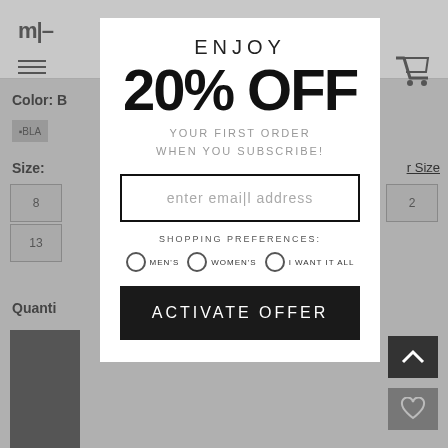[Figure (screenshot): Background e-commerce product page showing navigation header with logo and cart icon, color/size selectors, quantity label, and product image, all grayed out behind modal overlay]
ENJOY
20% OFF
YOUR FIRST ORDER
WHEN YOU SUBSCRIBE!
enter email address
SHOPPING PREFERENCES:
MEN'S
WOMEN'S
I WANT IT ALL
ACTIVATE OFFER